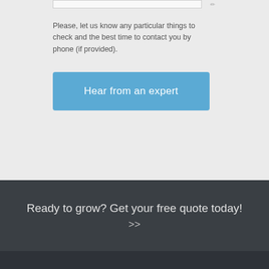Please, let us know any particular things to check and the best time to contact you by phone (if provided).
Hear from an expert
Ready to grow? Get your free quote today! >>